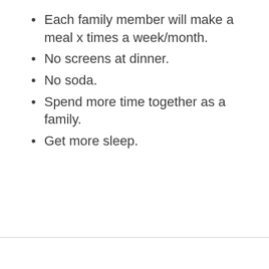Each family member will make a meal x times a week/month.
No screens at dinner.
No soda.
Spend more time together as a family.
Get more sleep.